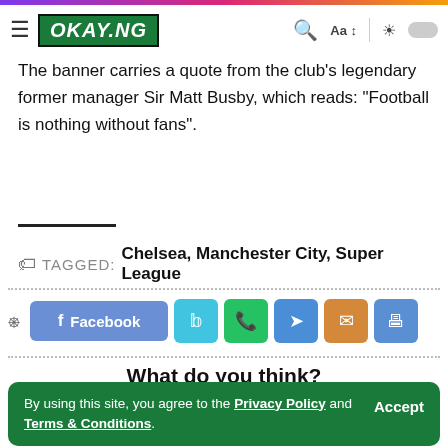OKAY.NG
The banner carries a quote from the club's legendary former manager Sir Matt Busby, which reads: “Football is nothing without fans”.
TAGGED: Chelsea, Manchester City, Super League
[Figure (other): Social share buttons row: Facebook, Twitter, WhatsApp, Telegram, Email, Print]
What do you think?
[Figure (other): Row of reaction emoji icons]
By using this site, you agree to the Privacy Policy and Terms & Conditions.